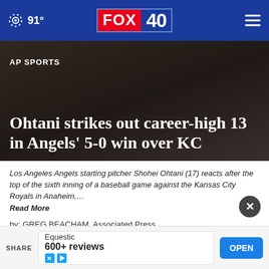91° FOX 40
[Figure (photo): Hero background image of a baseball player, dimly lit, with overlay text]
AP SPORTS
Ohtani strikes out career-high 13 in Angels' 5-0 win over KC
Los Angeles Angels starting pitcher Shohei Ohtani (17) reacts after the top of the sixth inning of a baseball game against the Kansas City Royals in Anaheim,…
Read More
by: GREG BEACHAM, Associated Press
Posted: Jun 22, 2022 / 10:20 PM PDT
Updated: Jun 22, 2022 / 11:27 PM PDT
SHARE
Equestic
600+ reviews
OPEN